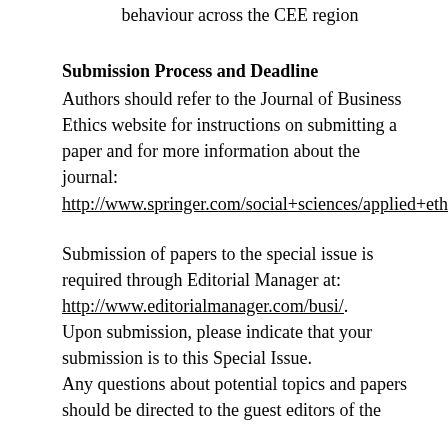behaviour across the CEE region
Submission Process and Deadline
Authors should refer to the Journal of Business Ethics website for instructions on submitting a paper and for more information about the journal: http://www.springer.com/social+sciences/applied+ethics/journal/10551.
Submission of papers to the special issue is required through Editorial Manager at: http://www.editorialmanager.com/busi/. Upon submission, please indicate that your submission is to this Special Issue. Any questions about potential topics and papers should be directed to the guest editors of the